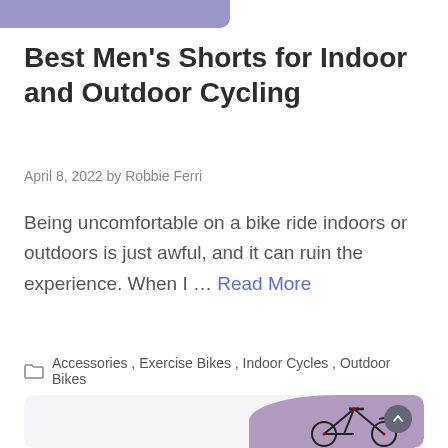[Figure (illustration): Purple/mauve colored banner strip at the top of the page, partially visible]
Best Men’s Shorts for Indoor and Outdoor Cycling
April 8, 2022 by Robbie Ferri
Being uncomfortable on a bike ride indoors or outdoors is just awful, and it can ruin the experience. When I … Read More
Accessories, Exercise Bikes, Indoor Cycles, Outdoor Bikes
[Figure (photo): Partial view of a blog post card with a light gray background and a purple circular graphic with an indoor exercise bike/cycling image on the right side]